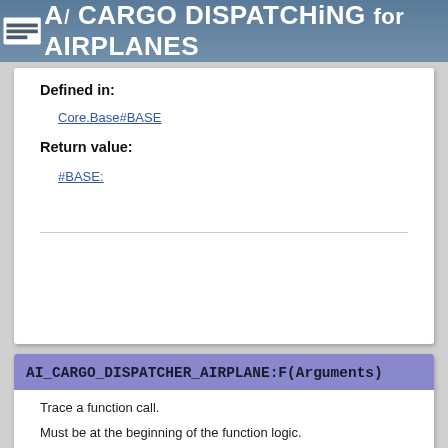AI CARGO DISPATCHING FOR AIRPLANES
Defined in:
Core.Base#BASE
Return value:
#BASE:
AI_CARGO_DISPATCHER_AIRPLANE:F(Arguments)
Trace a function call.
Must be at the beginning of the function logic.
Defined in:
Core.Base#BASE
Parameter:
Arguments